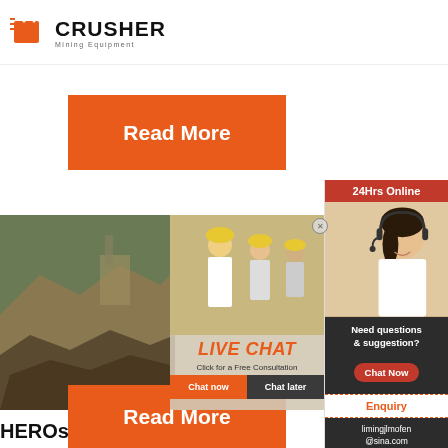[Figure (logo): Crusher Mining Equipment logo with orange shopping bag icon and bold CRUSHER text, subtitle Mining Equipment]
[Figure (other): Orange 'Read More' button]
[Figure (photo): Mining/quarry scene with workers in yellow hard hats and a Live Chat overlay popup with 'LIVE CHAT', 'Click for a Free Consultation', 'Chat now' and 'Chat later' buttons]
[Figure (photo): Right sidebar with '24Hrs Online' red header, woman with headset photo, 'Need questions & suggestion?' dark panel with Chat Now button, Enquiry section, and email limingjlmofen@sina.com]
HEROsector01
Jul 11, 2013 · Creep Crushers was an online ga-
[Figure (other): Orange 'Read More' button at bottom]